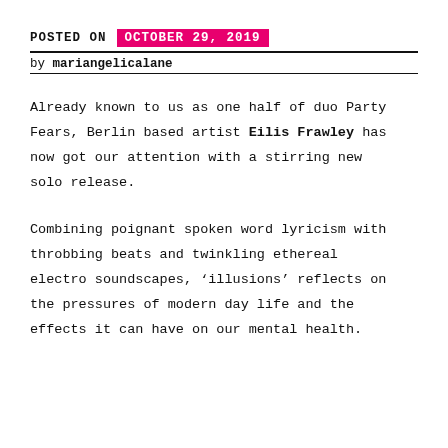POSTED ON  OCTOBER 29, 2019
by mariangelicalane
Already known to us as one half of duo Party Fears, Berlin based artist Eilis Frawley has now got our attention with a stirring new solo release.
Combining poignant spoken word lyricism with throbbing beats and twinkling ethereal electro soundscapes, ‘illusions’ reflects on the pressures of modern day life and the effects it can have on our mental health.